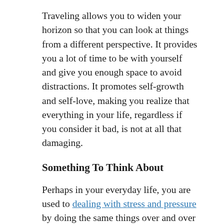Traveling allows you to widen your horizon so that you can look at things from a different perspective. It provides you a lot of time to be with yourself and give you enough space to avoid distractions. It promotes self-growth and self-love, making you realize that everything in your life, regardless if you consider it bad, is not at all that damaging.
Something To Think About
Perhaps in your everyday life, you are used to dealing with stress and pressure by doing the same things over and over again. You handle the same financial problems as it never ends, you go to the same boring places all the time,